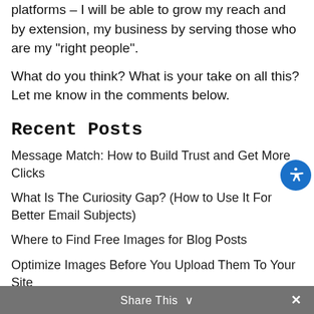platforms – I will be able to grow my reach and by extension, my business by serving those who are my “right people”.
What do you think? What is your take on all this? Let me know in the comments below.
Recent Posts
Message Match: How to Build Trust and Get More Clicks
What Is The Curiosity Gap? (How to Use It For Better Email Subjects)
Where to Find Free Images for Blog Posts
Optimize Images Before You Upload Them To Your Site
Can You Describe Your Business in One
Share This ∨  ✕